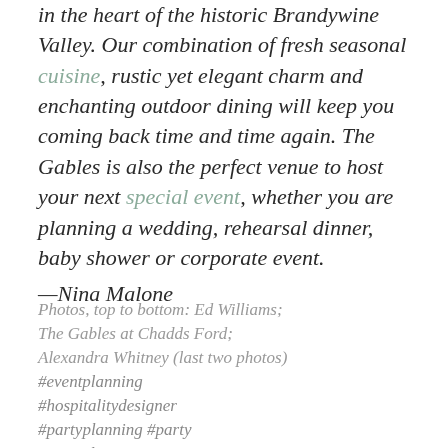in the heart of the historic Brandywine Valley. Our combination of fresh seasonal cuisine, rustic yet elegant charm and enchanting outdoor dining will keep you coming back time and time again. The Gables is also the perfect venue to host your next special event, whether you are planning a wedding, rehearsal dinner, baby shower or corporate event.
—Nina Malone
Photos, top to bottom: Ed Williams; The Gables at Chadds Ford; Alexandra Whitney (last two photos)
#eventplanning
#hospitalitydesigner
#partyplanning #party
#specialeventsteam